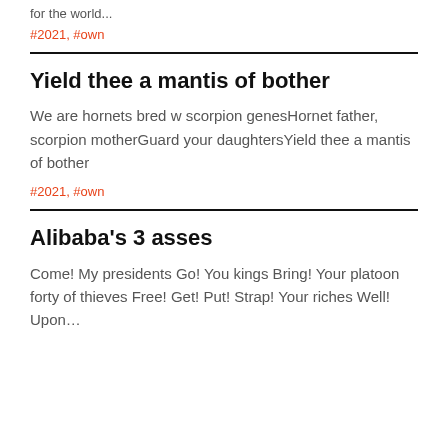for the world...
#2021, #own
Yield thee a mantis of bother
We are hornets bred w scorpion genesHornet father, scorpion motherGuard your daughtersYield thee a mantis of bother
#2021, #own
Alibaba's 3 asses
Come! My presidents Go! You kings Bring! Your platoon forty of thieves Free! Get! Put! Strap! Your riches Well! Upon...